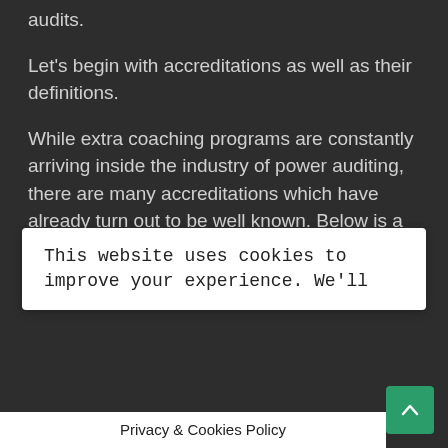audits.
Let's begin with accreditations as well as their definitions.
While extra coaching programs are constantly arriving inside the industry of power auditing, there are many accreditations which have already turn out to be well known. Below is a listing of the people you should look at opting for and be aware of.
This website uses cookies to improve your experience. We'll
name you may listen to frequently is definitely the Developing Performance Institute also known as BPI. Becoming licensed by BPI means you are not obligated to go any courses. However, it might be a good idea to take the week-long BPI accreditation preparation program as it increases the chances of you easily moving the sector evaluation and also the 100 question, two-hr composed examination (having a minimal moving rating of 70%).
Privacy & Cookies Policy